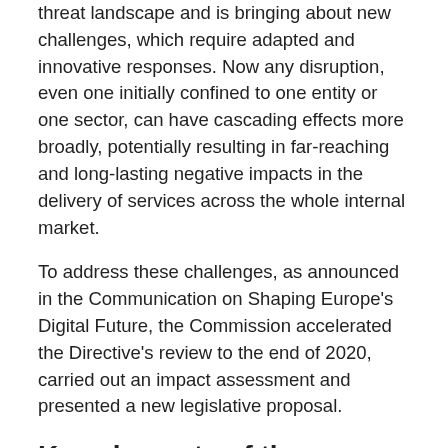threat landscape and is bringing about new challenges, which require adapted and innovative responses. Now any disruption, even one initially confined to one entity or one sector, can have cascading effects more broadly, potentially resulting in far-reaching and long-lasting negative impacts in the delivery of services across the whole internal market.
To address these challenges, as announced in the Communication on Shaping Europe's Digital Future, the Commission accelerated the Directive's review to the end of 2020, carried out an impact assessment and presented a new legislative proposal.
Key elements of the Commission proposal
The new Commission proposal aims to address the deficiencies of the previous NIS Directive, to adapt it to the